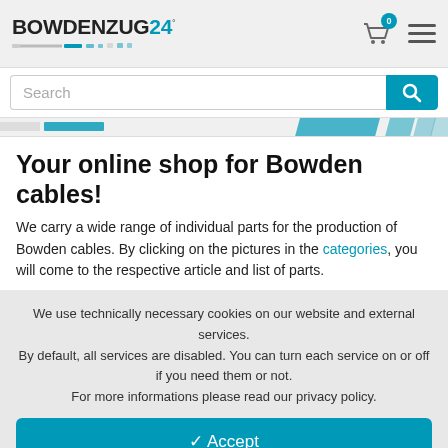BOWDENZUG24
Search
Your online shop for Bowden cables!
We carry a wide range of individual parts for the production of Bowden cables. By clicking on the pictures in the categories, you will come to the respective article and list of parts.
We use technically necessary cookies on our website and external services. By default, all services are disabled. You can turn each service on or off if you need them or not. For more informations please read our privacy policy.
✓ Accept
Customize